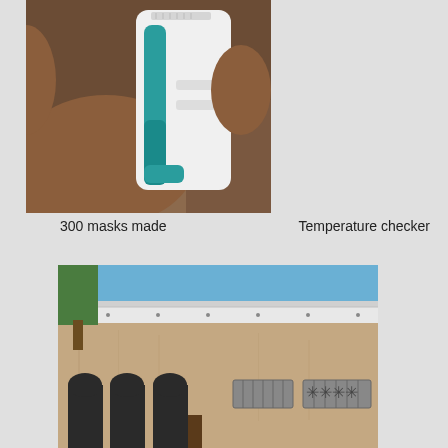[Figure (photo): Close-up photo of a hand holding a white and teal/blue temperature checker gun device]
300 masks made
Temperature checker
[Figure (photo): Exterior photo of a mud/clay building with a white metal roof, arched doorways, decorative ventilation grilles, and a tree visible on the left side under blue sky]